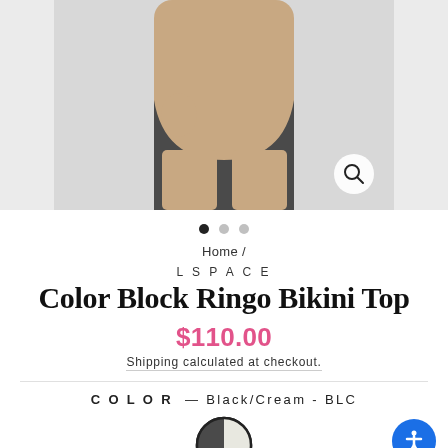[Figure (photo): Product photo of a model wearing a dark gray bikini bottom, cropped to show torso and legs against a light gray background. A zoom/search icon button appears in the lower right of the image.]
• • •
Home /
LSPACE
Color Block Ringo Bikini Top
$110.00
Shipping calculated at checkout.
COLOR  — Black/Cream - BLC
[Figure (illustration): Color swatch circle showing half dark gray and half light cream/white, with a black border.]